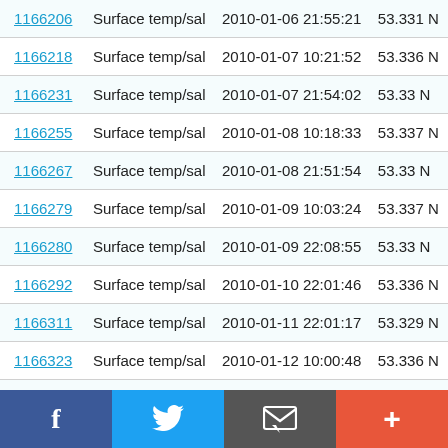| ID | Type | Date/Time | Value |
| --- | --- | --- | --- |
| 1166206 | Surface temp/sal | 2010-01-06 21:55:21 | 53.331 N |
| 1166218 | Surface temp/sal | 2010-01-07 10:21:52 | 53.336 N |
| 1166231 | Surface temp/sal | 2010-01-07 21:54:02 | 53.33 N |
| 1166255 | Surface temp/sal | 2010-01-08 10:18:33 | 53.337 N |
| 1166267 | Surface temp/sal | 2010-01-08 21:51:54 | 53.33 N |
| 1166279 | Surface temp/sal | 2010-01-09 10:03:24 | 53.337 N |
| 1166280 | Surface temp/sal | 2010-01-09 22:08:55 | 53.33 N |
| 1166292 | Surface temp/sal | 2010-01-10 22:01:46 | 53.336 N |
| 1166311 | Surface temp/sal | 2010-01-11 22:01:17 | 53.329 N |
| 1166323 | Surface temp/sal | 2010-01-12 10:00:48 | 53.336 N |
| 1166335 | Surface temp/sal | 2010-01-12 22:05:59 | 53.329 N |
[Figure (other): Mobile share toolbar with Facebook, Twitter, email/share, and more (+) buttons]